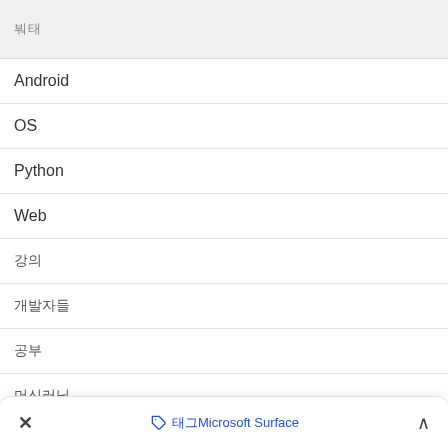태그
Android
OS
Python
Web
강의
개발자들
공부
머신러닝
스터디
안드로이드
× 태그Microsoft Surface ∧